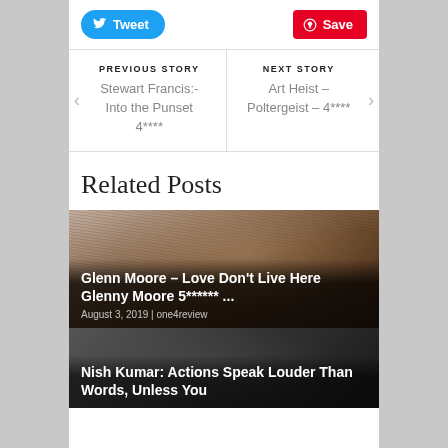[Figure (other): Twitter Tweet button (blue rounded) and Pinterest Save button (red)]
PREVIOUS STORY
Stewart Francis:- Into the Punset 4****
NEXT STORY
Art Heist – Poltergeist – 4****
Related Posts
[Figure (photo): Photo of a man with curly brown hair, used as background for the post card. Title overlay: Glenn Moore – Love Don't Live Here Glenny Moore 5****** ... | August 3, 2019 | one4review]
[Figure (photo): Dark photo of a man, used as background for the post card. Title overlay: Nish Kumar: Actions Speak Louder Than Words, Unless You...]